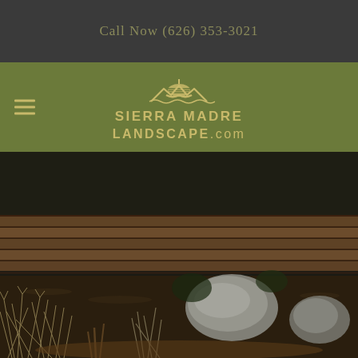Call Now (626) 353-3021
[Figure (logo): Sierra Madre Landscape.com logo with sun/mountain icon and hamburger menu icon on olive green navigation bar]
[Figure (photo): Landscape photo showing a garden with ornamental grasses, large boulders, dark mulch ground cover, and a wooden retaining structure in the background]